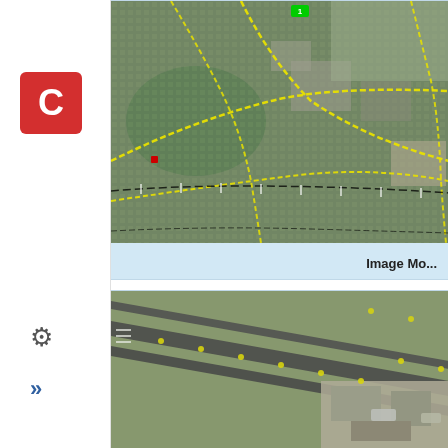[Figure (screenshot): Application sidebar with red logo box containing letter C, gear/settings icon, and chevron/arrows icon]
[Figure (map): Aerial/satellite map view of an urban area with yellow dotted route lines and black dashed boundary lines overlaid]
Image Mo...
[Figure (map): Aerial/satellite view of an airport runway area with yellow markers/dots and terminal buildings visible]